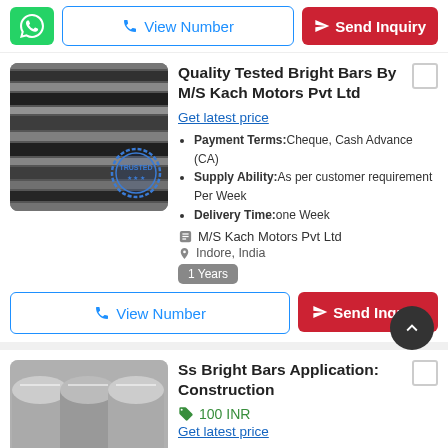[Figure (other): Top action bar with WhatsApp button, View Number button, and Send Inquiry button]
[Figure (photo): Photo of bright steel bars (horizontal pattern, dark/metallic) with a TRUSTED stamp overlay]
Quality Tested Bright Bars By M/S Kach Motors Pvt Ltd
Get latest price
Payment Terms:Cheque, Cash Advance (CA)
Supply Ability:As per customer requirement Per Week
Delivery Time:one Week
M/S Kach Motors Pvt Ltd
Indore, India
1 Years
[Figure (other): Action bar with View Number button and Send Inquiry button]
[Figure (photo): Photo of stainless steel bright bars (round rods stacked together)]
Ss Bright Bars Application: Construction
100 INR
Get latest price
MOQ: Any Order Kilograms